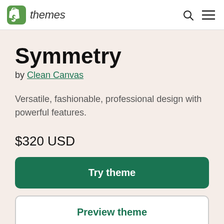Shopify themes
Symmetry
by Clean Canvas
Versatile, fashionable, professional design with powerful features.
$320 USD
Try theme
Preview theme
Unlimited free trial. Pay if you publish.